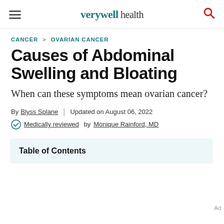verywell health
CANCER > OVARIAN CANCER
Causes of Abdominal Swelling and Bloating
When can these symptoms mean ovarian cancer?
By Blyss Splane | Updated on August 06, 2022
Medically reviewed by Monique Rainford, MD
Table of Contents